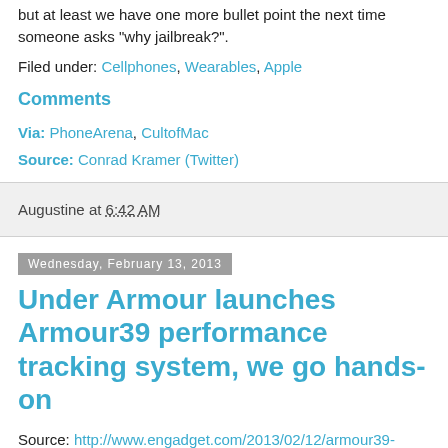but at least we have one more bullet point the next time someone asks "why jailbreak?".
Filed under: Cellphones, Wearables, Apple
Comments
Via: PhoneArena, CultofMac
Source: Conrad Kramer (Twitter)
Augustine at 6:42 AM
Wednesday, February 13, 2013
Under Armour launches Armour39 performance tracking system, we go hands-on
Source: http://www.engadget.com/2013/02/12/armour39-hands-on/